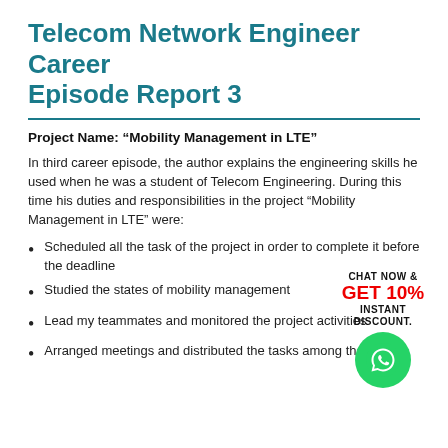Telecom Network Engineer Career Episode Report 3
Project Name: “Mobility Management in LTE”
In third career episode, the author explains the engineering skills he used when he was a student of Telecom Engineering. During this time his duties and responsibilities in the project “Mobility Management in LTE” were:
Scheduled all the task of the project in order to complete it before the deadline
Studied the states of mobility management
Lead my teammates and monitored the project activities
Arranged meetings and distributed the tasks among the team
[Figure (infographic): WhatsApp chat promotion badge with text 'CHAT NOW & GET 10% INSTANT DISCOUNT.' and a green WhatsApp icon circle]